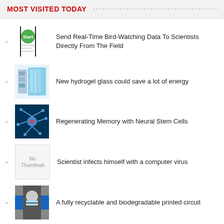MOST VISITED TODAY
Send Real-Time Bird-Watching Data To Scientists Directly From The Field
New hydrogel glass could save a lot of energy
Regenerating Memory with Neural Stem Cells
Scientist infects himself with a computer virus
A fully recyclable and biodegradable printed circuit
Innovation